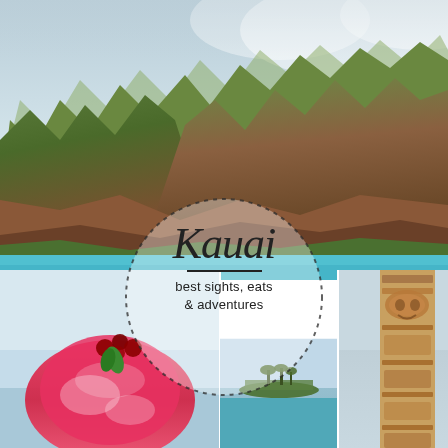[Figure (photo): Collage cover image: top — dramatic Na Pali Coast jagged green cliffs with turquoise ocean beach; middle band — turquoise sea; bottom left — raspberry shave ice with mint garnish; bottom center — distant tropical island with palm trees; bottom right — carved tiki wooden statue. Overlaid with a dotted circle containing the title 'Kauai' in italic script, a horizontal dividing line, and subtitle 'best sights, eats & adventures'.]